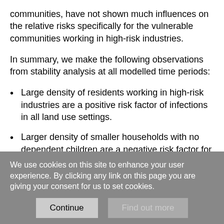communities, have not shown much influences on the relative risks specifically for the vulnerable communities working in high-risk industries.
In summary, we make the following observations from stability analysis at all modelled time periods:
Large density of residents working in high-risk industries are a positive risk factor of infections in all land use settings.
Larger density of smaller households with no dependent children are a negative risk factor for infections.
Larger density of public transport and non-motorised users for commuting is a positive risk factor of infections for most dense urbanised areas.
We use cookies on this site to enhance your user experience. By clicking any link on this page you are giving your consent for us to set cookies.